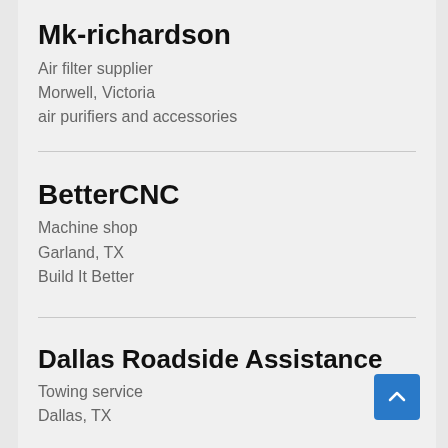Mk-richardson
Air filter supplier
Morwell, Victoria
air purifiers and accessories
BetterCNC
Machine shop
Garland, TX
Build It Better
Dallas Roadside Assistance
Towing service
Dallas, TX